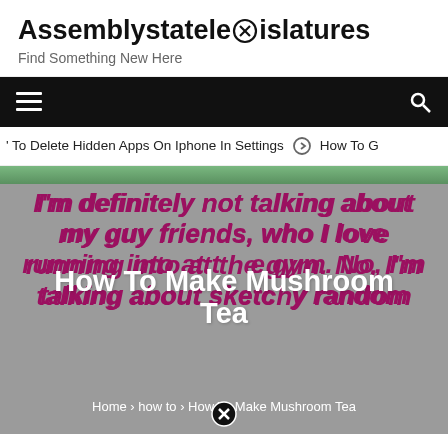Assemblystatelegislatures — Find Something New Here
' To Delete Hidden Apps On Iphone In Settings  ➤  How To G
[Figure (photo): Background image with pink bold italic text reading: I'm definitely not talking about my guy friends, who I love running into at the gym. No, I'm talking about sketchy random dudes who think it's okay to]
How To Make Mushroom Tea
Home › how to › How To Make Mushroom Tea